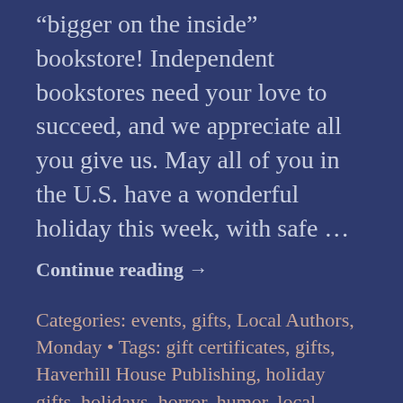“bigger on the inside” bookstore! Independent bookstores need your love to succeed, and we appreciate all you give us. May all of you in the U.S. have a wonderful holiday this week, with safe …
Continue reading →
Categories: events, gifts, Local Authors, Monday • Tags: gift certificates, gifts, Haverhill House Publishing, holiday gifts, holidays, horror, humor, local author, local author events, local authors, Local Bookstore, Memoirs, Small Business